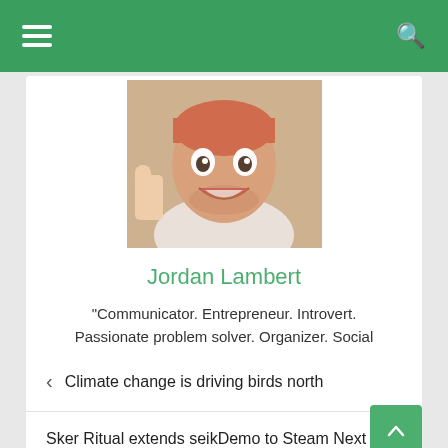Navigation header with hamburger menu and search icon
[Figure (photo): Profile photo of Jordan Lambert, a red-haired man giving a thumbs up and smiling widely at the camera]
Jordan Lambert
"Communicator. Entrepreneur. Introvert. Passionate problem solver. Organizer. Social media ninja."
< Climate change is driving birds north
Sker Ritual extends seikDemo to Steam Next Fest >